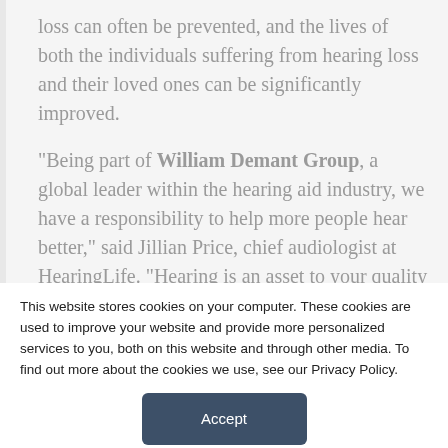loss can often be prevented, and the lives of both the individuals suffering from hearing loss and their loved ones can be significantly improved.
“Being part of William Demant Group, a global leader within the hearing aid industry, we have a responsibility to help more people hear better,” said Jillian Price, chief audiologist at HearingLife. “Hearing is an asset to your quality of life and hearing poorly is a significant liability. We need to get as many people as possible that have hearing difficulties treated with care and expertise.
This website stores cookies on your computer. These cookies are used to improve your website and provide more personalized services to you, both on this website and through other media. To find out more about the cookies we use, see our Privacy Policy.